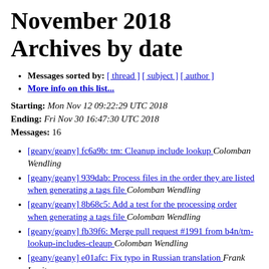November 2018 Archives by date
Messages sorted by: [ thread ] [ subject ] [ author ]
More info on this list...
Starting: Mon Nov 12 09:22:29 UTC 2018
Ending: Fri Nov 30 16:47:30 UTC 2018
Messages: 16
[geany/geany] fc6a9b: tm: Cleanup include lookup  Colomban Wendling
[geany/geany] 939dab: Process files in the order they are listed when generating a tags file  Colomban Wendling
[geany/geany] 8b68c5: Add a test for the processing order when generating a tags file  Colomban Wendling
[geany/geany] fb39f6: Merge pull request #1991 from b4n/tm-lookup-includes-cleaup  Colomban Wendling
[geany/geany] e01afc: Fix typo in Russian translation  Frank Lanitz
[geany/geany] 193430: Update NEWS for 1.34 with translation changes done since 1.33  Frank Lanitz
[geany/geany] 3a9e52: Windows: Enable DPI aware mode